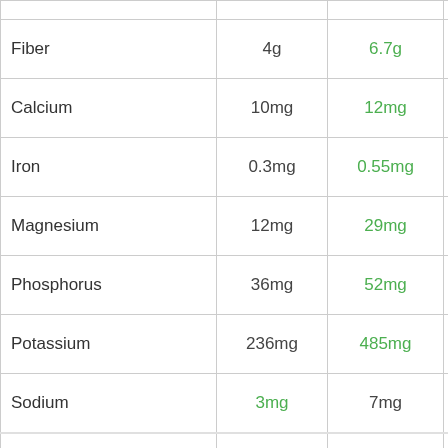| Nutrient | Value 1 | Value 2 | Image |
| --- | --- | --- | --- |
| Fiber | 4g | 6.7g | avocado |
| Calcium | 10mg | 12mg | avocado |
| Iron | 0.3mg | 0.55mg | avocado |
| Magnesium | 12mg | 29mg | avocado |
| Phosphorus | 36mg | 52mg | avocado |
| Potassium | 236mg | 485mg | avocado |
| Sodium | 3mg | 7mg | pomegranate |
| Zinc | 0.35mg | 0.64mg | garlic |